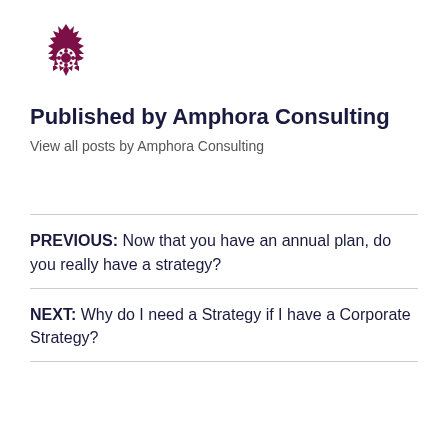[Figure (logo): Amphora Consulting logo — circular decorative snowflake/medallion pattern in dark purple/maroon]
Published by Amphora Consulting
View all posts by Amphora Consulting
PREVIOUS: Now that you have an annual plan, do you really have a strategy?
NEXT: Why do I need a Strategy if I have a Corporate Strategy?